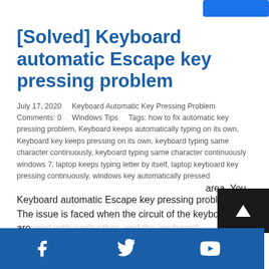[Solved] Keyboard automatic Escape key pressing problem
July 17, 2020    Keyboard Automatic Key Pressing Problem    Comments: 0    Windows Tips    Tags: how to fix automatic key pressing problem, Keyboard keeps automatically typing on its own, Keyboard key keeps pressing on its own, keyboard typing same character continuously, keyboard typing same character continuously windows 7, laptop keeps typing letter by itself, laptop keyboard key pressing continuously, windows key automatically pressed
Keyboard automatic Escape key pressing problem – The issue is faced when the circuit of the keyboard are joint with each other, and the keyboard area. You om